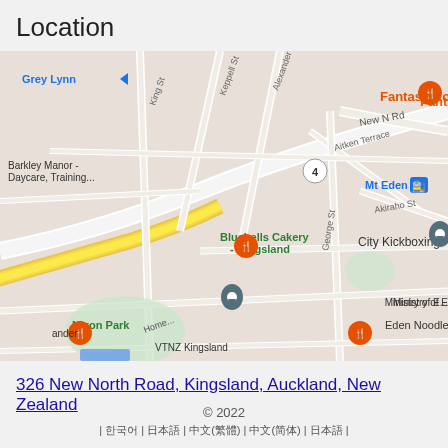Location
[Figure (map): Google Maps screenshot showing Kingsland, Auckland area with markers for City Kickboxing, VTNZ Kingsland, Bluebells Cakery Kingsland, Fantasy Korean BBQ, Eden Noodles Cafe, Mt Eden station, Nixon Park, and Barkley Manor Daycare. Streets include New North Road, George St, Keppell St, Alexander St, Aitken Terrace, Akiraho St.]
326 New North Road, Kingsland, Auckland, New Zealand
© 2022 | 한국어 | 日本語 | 中文(繁體) | 中文(简体) | 日本語 |